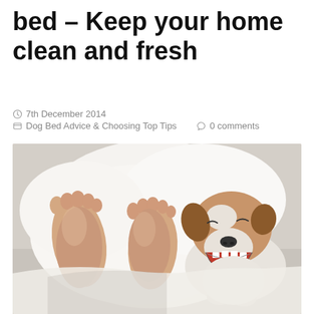bed – Keep your home clean and fresh
7th December 2014
Dog Bed Advice & Choosing Top Tips   0 comments
[Figure (photo): A Jack Russell Terrier dog yawning with mouth wide open, lying next to human feet sticking out from under white bed covers on a white bed/sofa.]